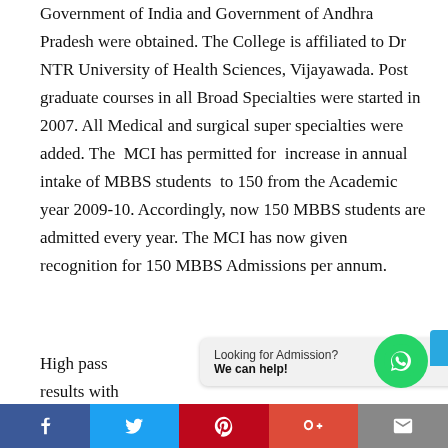Government of India and Government of Andhra Pradesh were obtained. The College is affiliated to Dr NTR University of Health Sciences, Vijayawada. Post graduate courses in all Broad Specialties were started in 2007. All Medical and surgical super specialties were added. The MCI has permitted for increase in annual intake of MBBS students to 150 from the Academic year 2009-10. Accordingly, now 150 MBBS students are admitted every year. The MCI has now given recognition for 150 MBBS Admissions per annum.
High pass results with
Looking for Admission? We can help!
[Social share bar: Facebook, Twitter, Pinterest, Google+, Email]